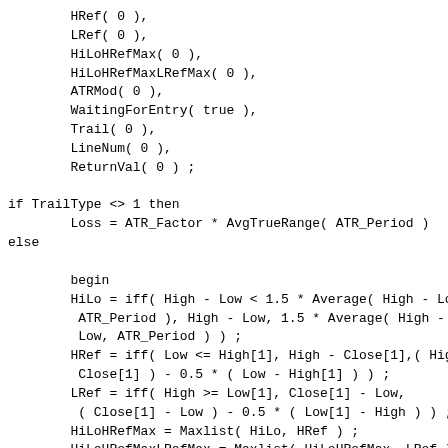HRef( 0 ),
        LRef( 0 ),
        HiLoHRefMax( 0 ),
        HiLoHRefMaxLRefMax( 0 ),
        ATRMod( 0 ),
        WaitingForEntry( true ),
        Trail( 0 ),
        LineNum( 0 ),
        ReturnVal( 0 ) ;

if TrailType <> 1 then
        Loss = ATR_Factor * AvgTrueRange( ATR_Period )
else

        begin
        HiLo = iff( High - Low < 1.5 * Average( High - Lo
         ATR_Period ), High - Low, 1.5 * Average( High -
         Low, ATR_Period ) ) ;
        HRef = iff( Low <= High[1], High - Close[1],( Hig
         Close[1] ) - 0.5 * ( Low - High[1] ) ) ;
        LRef = iff( High >= Low[1], Close[1] - Low,
         ( Close[1] - Low ) - 0.5 * ( Low[1] - High ) ) ;
        HiLoHRefMax = Maxlist( HiLo, HRef ) ;
        HiLoHRefMaxLRefMax = Maxlist( HiLoHRefMax, LRef );
        ATRMod = XAverage( HiLoHRefMaxLRefMax, 2 *
         ATR_Period - 1 ) ;
        Loss = ATR_Factor * ATRMod ;
        end ;

if WaitingForEntry
        and Year( Date ) + 1900 >= InitialYear